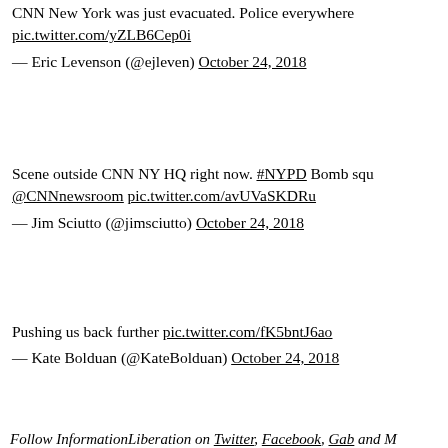CNN New York was just evacuated. Police everywhere pic.twitter.com/yZLB6Cep0i
— Eric Levenson (@ejleven) October 24, 2018
Scene outside CNN NY HQ right now. #NYPD Bomb sq... @CNNnewsroom pic.twitter.com/avUVaSKDRu
— Jim Sciutto (@jimsciutto) October 24, 2018
Pushing us back further pic.twitter.com/fK5bntJ6ao
— Kate Bolduan (@KateBolduan) October 24, 2018
Follow InformationLiberation on Twitter, Facebook, Gab and M